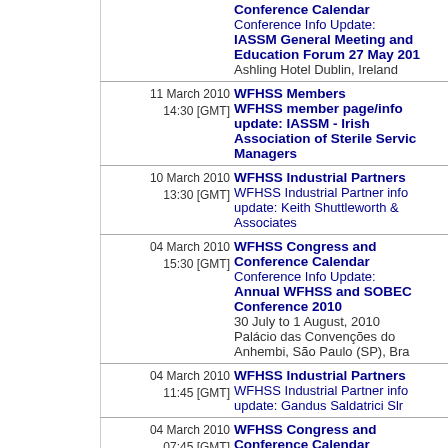[partial top] Conference Calendar / Conference Info Update: IASSM General Meeting and Education Forum 27 May 20.. / Ashling Hotel Dublin, Ireland
11 March 2010 14:30 [GMT] WFHSS Members / WFHSS member page/info update: IASSM - Irish Association of Sterile Service Managers
10 March 2010 13:30 [GMT] WFHSS Industrial Partners / WFHSS Industrial Partner info update: Keith Shuttleworth & Associates
04 March 2010 15:30 [GMT] WFHSS Congress and Conference Calendar / Conference Info Update: Annual WFHSS and SOBECO Conference 2010 / 30 July to 1 August, 2010 / Palácio das Convenções do Anhembi, São Paulo (SP), Bra...
04 March 2010 11:45 [GMT] WFHSS Industrial Partners / WFHSS Industrial Partner info update: Gandus Saldatrici Slr
04 March 2010 07:45 [GMT] WFHSS Congress and Conference Calendar / Conference Info Update: Joint IRCAN/IFIC 2010